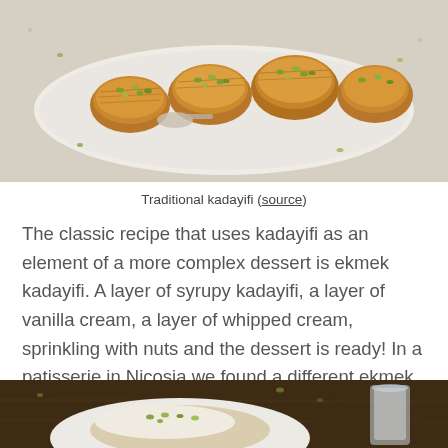[Figure (photo): A white oval platter holding pieces of golden-brown kadayifi pastry sprinkled with chopped green pistachios, viewed from above on a light surface.]
Traditional kadayifi (source)
The classic recipe that uses kadayifi as an element of a more complex dessert is ekmek kadayifi. A layer of syrupy kadayifi, a layer of vanilla cream, a layer of whipped cream, sprinkling with nuts and the dessert is ready! In a patisserie in Nicosia we found a different ekmek kadayifi, with praline cream on top of the syrupy base.
[Figure (photo): A serving of ekmek kadayifi dessert on a plate with a glass of water, garnished with pistachios, on a dark wooden surface.]